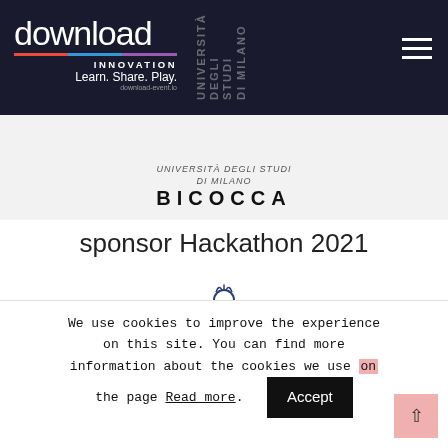[Figure (logo): Download Innovation logo with text 'download', colorful underline, 'INNOVATION', 'Learn. Share. Play.' and 'download-event.io']
[Figure (logo): Università degli Studi di Milano-Bicocca logo with eagle emblem and BICOCCA text]
sponsor Hackathon 2021
[Figure (logo): Blue eagle/bird heraldic emblem logo for Bicocca university sponsor]
We use cookies to improve the experience on this site. You can find more information about the cookies we use on the page Read more. Accept